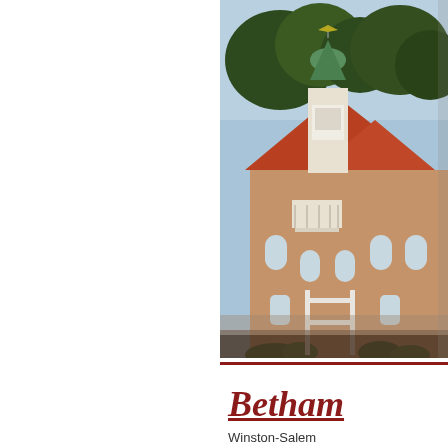[Figure (photo): Photograph of a brick church building with a green copper cupola/steeple and a white bell tower element. Red/terracotta roof tiles visible. Trees in background, white metal gate/fence structure in foreground, sunny day.]
Betham...
Winston-Salem...